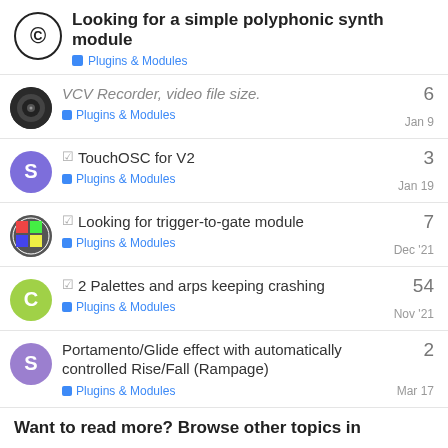Looking for a simple polyphonic synth module — Plugins & Modules
VCV Recorder, video file size. — Plugins & Modules — Jan 9 — 6 replies
✓ TouchOSC for V2 — Plugins & Modules — Jan 19 — 3 replies
✓ Looking for trigger-to-gate module — Plugins & Modules — Dec '21 — 7 replies
✓ 2 Palettes and arps keeping crashing — Plugins & Modules — Nov '21 — 54 replies
Portamento/Glide effect with automatically controlled Rise/Fall (Rampage) — Plugins & Modules — Mar 17 — 2 replies
Want to read more? Browse other topics in